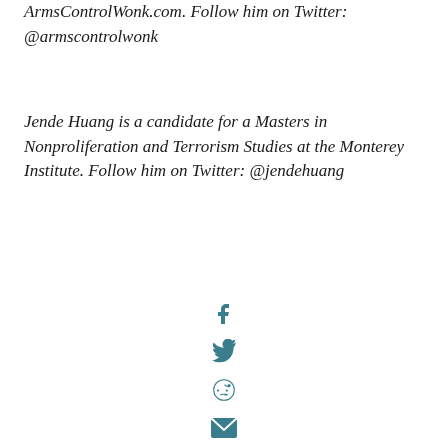ArmsControlWonk.com. Follow him on Twitter: @armscontrolwonk
Jende Huang is a candidate for a Masters in Nonproliferation and Terrorism Studies at the Monterey Institute. Follow him on Twitter: @jendehuang
[Figure (infographic): Social media share icons: Facebook, Twitter, Reddit, Email, Print — arranged vertically in teal/dark cyan color]